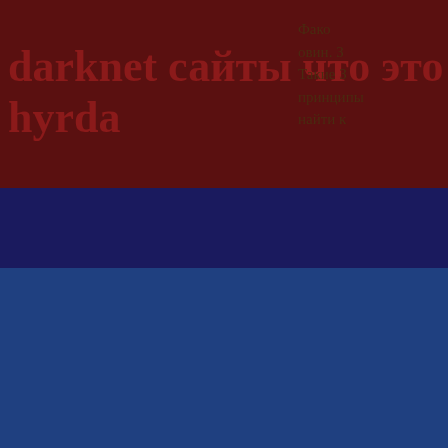darknet сайты что это hyrda
Фако овин. Такие принципы найти
скачать tor browser для линукс gydra
tor browser connection out гирда
Tor browser open
Плохо написано, браузер фа
From the Tor folder on your desktop, select all. Open torrc ; there is no extension. Double-click on the torr following:. If your bridge is behind a firewall or NAT